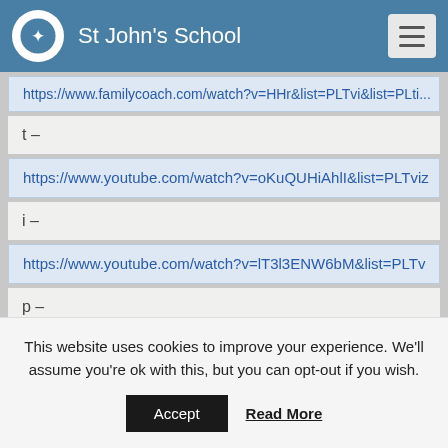St John's School
https://www.familycoach.com/watch?v=HHH&list=PLTvi...
t –
https://www.youtube.com/watch?v=oKuQUHiAhlI&list=PLTvi...
i –
https://www.youtube.com/watch?v=lT3l3ENW6bM&list=PLTv...
p –
https://www.youtube.com/watch?v=RkShcNG5Hxg&list=PLTv...
n-
This website uses cookies to improve your experience. We'll assume you're ok with this, but you can opt-out if you wish.